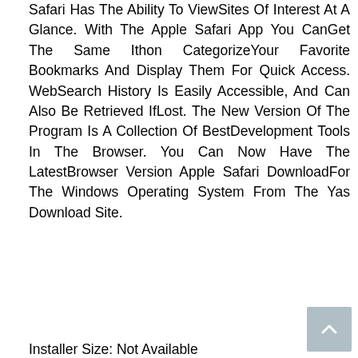Safari Has The Ability To ViewSites Of Interest At A Glance. With The Apple Safari App You CanGet The Same Ithon CategorizeYour Favorite Bookmarks And Display Them For Quick Access. WebSearch History Is Easily Accessible, And Can Also Be Retrieved IfLost. The New Version Of The Program Is A Collection Of BestDevelopment Tools In The Browser. You Can Now Have The LatestBrowser Version Apple Safari DownloadFor The Windows Operating System From The Yas Download Site.
Installer Size: Not Available